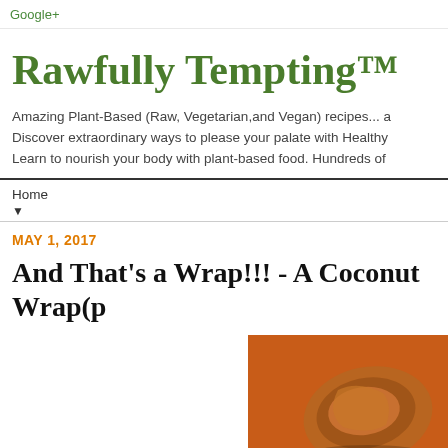Google+
Rawfully Tempting™
Amazing Plant-Based (Raw, Vegetarian,and Vegan) recipes... a Discover extraordinary ways to please your palate with Healthy Learn to nourish your body with plant-based food. Hundreds of
Home ▼
MAY 1, 2017
And That's a Wrap!!! - A Coconut Wrap(p
[Figure (photo): Photo of a coconut wrap on an orange/red background]